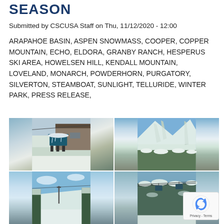SEASON
Submitted by CSCUSA Staff on Thu, 11/12/2020 - 12:00
ARAPAHOE BASIN, ASPEN SNOWMASS, COOPER, COPPER MOUNTAIN, ECHO, ELDORA, GRANBY RANCH, HESPERUS SKI AREA, HOWELSEN HILL, KENDALL MOUNTAIN, LOVELAND, MONARCH, POWDERHORN, PURGATORY, SILVERTON, STEAMBOAT, SUNLIGHT, TELLURIDE, WINTER PARK, PRESS RELEASE,
[Figure (photo): Four ski resort photos in a 2x2 grid: top-left shows a snow-covered ski lift chair with a lodge building behind; top-right shows an aerial/mountain view of snowy ski slopes with trees; bottom-left shows a snowy tree-lined ski run with blue sky; bottom-right shows ski lift cables/chairs among snow-covered pine trees.]